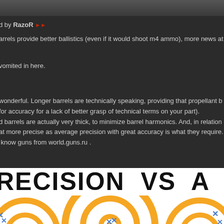d by RazoR ▶▶
arrels provide better ballistics (even if it would shoot m4 ammo), more news at
vomited in here.
wonderful. Longer barrels are technically speaking, providing that propellant bu
for accuracy for a lack of better grasp of technical terms on your part).
d barrels are actually very thick, to minimize barrel harmonics. And, in relation t
at more precise as average precision with great accuracy is what they require.
know guns from world.guns.ru .
[Figure (infographic): Infographic showing PRECISION VS ACCURACY with orange and white archery targets and blue X markers showing shot groupings]